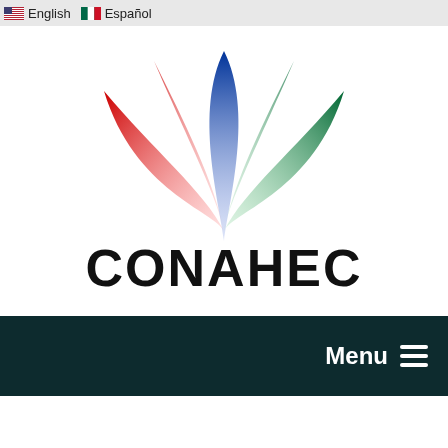English  Español
[Figure (logo): CONAHEC logo with three stylized wing shapes in red, blue, and green rising from a central point, with the text CONAHEC below in bold black letters]
Menu ☰